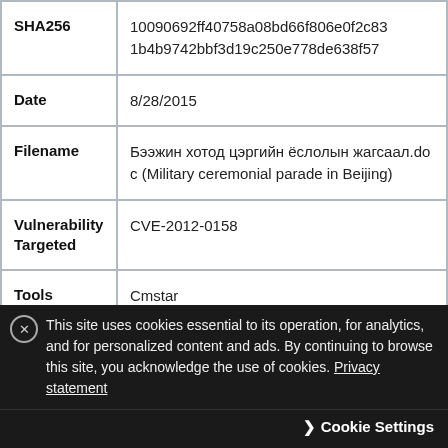| SHA256 | 10090692ff40758a08bd66f806e0f2c831b4b9742bbf3d19c250e778de638f57 |
| Date | 8/28/2015 |
| Filename | Бээжин хотод цэргийн ёслолын жагсаал.doc (Military ceremonial parade in Beijing) |
| Vulnerability Targeted | CVE-2012-0158 |
| Tools | Cmstar |
This site uses cookies essential to its operation, for analytics, and for personalized content and ads. By continuing to browse this site, you acknowledge the use of cookies. Privacy statement